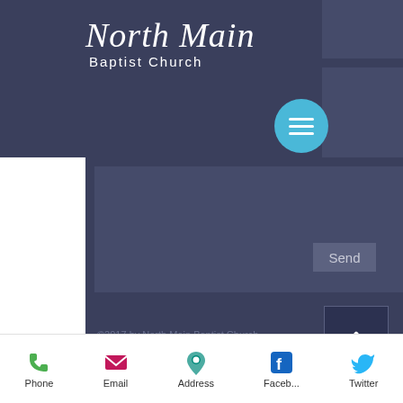[Figure (screenshot): Screenshot of the North Main Baptist Church mobile website. Shows a dark blue-gray header with the church logo (cursive 'North Main' script with 'Baptist Church' subtitle), a hamburger menu button (cyan circle with three white lines), a content area with a 'Send' button, a scroll-to-top arrow button, footer copyright text '©2017 by North Main Baptist Church, Danville, VA', and a bottom navigation bar with Phone, Email, Address, Faceb..., and Twitter icons.]
©2017 by North Main Baptist Church, Danville, VA
Phone
Email
Address
Faceb...
Twitter